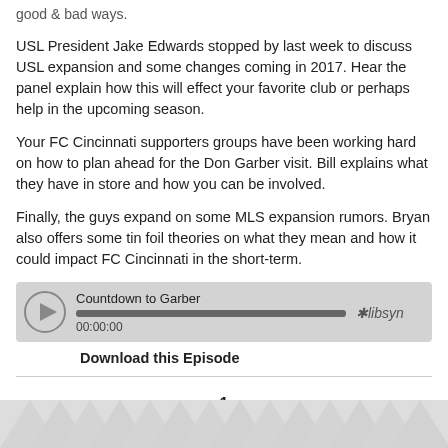good & bad ways.
USL President Jake Edwards stopped by last week to discuss USL expansion and some changes coming in 2017. Hear the panel explain how this will effect your favorite club or perhaps help in the upcoming season.
Your FC Cincinnati supporters groups have been working hard on how to plan ahead for the Don Garber visit. Bill explains what they have in store and how you can be involved.
Finally, the guys expand on some MLS expansion rumors. Bryan also offers some tin foil theories on what they mean and how it could impact FC Cincinnati in the short-term.
[Figure (other): Audio player widget labeled 'Countdown to Garber' with progress bar showing 00:00:00 and libsyn branding]
Download this Episode
1